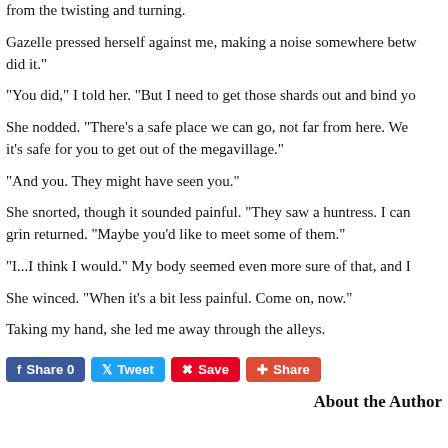from the twisting and turning.
Gazelle pressed herself against me, making a noise somewhere between a laugh and a sob. "I did it."
"You did," I told her. "But I need to get those shards out and bind yo
She nodded. "There's a safe place we can go, not far from here. We it's safe for you to get out of the megavillage."
"And you. They might have seen you."
She snorted, though it sounded painful. "They saw a huntress. I can grin returned. "Maybe you'd like to meet some of them."
"I...I think I would." My body seemed even more sure of that, and I
She winced. "When it's a bit less painful. Come on, now."
Taking my hand, she led me away through the alleys.
[Figure (infographic): Social sharing buttons: Facebook Share 0, Twitter Tweet, Pinterest Save, Google+ Share]
About the Author